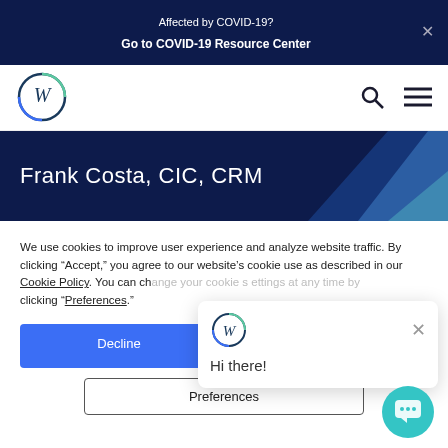Affected by COVID-19? Go to COVID-19 Resource Center
[Figure (logo): W logo circle in nav bar]
Frank Costa, CIC, CRM
We use cookies to improve user experience and analyze website traffic. By clicking “Accept,” you agree to our website’s cookie use as described in our Cookie Policy. You can change your cookie settings at any time by clicking “Preferences.”
Decline
Preferences
[Figure (screenshot): Chat popup widget with W logo and Hi there! greeting]
[Figure (illustration): Teal chat circle button in bottom right corner]